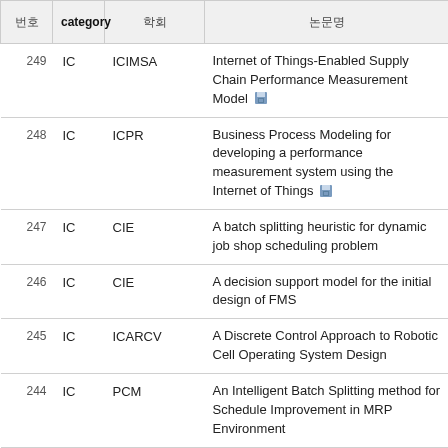| 번호 | category | 학회 | 논문명 |
| --- | --- | --- | --- |
| 249 | IC | ICIMSA | Internet of Things-Enabled Supply Chain Performance Measurement Model 💾 |
| 248 | IC | ICPR | Business Process Modeling for developing a performance measurement system using the Internet of Things 💾 |
| 247 | IC | CIE | A batch splitting heuristic for dynamic job shop scheduling problem |
| 246 | IC | CIE | A decision support model for the initial design of FMS |
| 245 | IC | ICARCV | A Discrete Control Approach to Robotic Cell Operating System Design |
| 244 | IC | PCM | An Intelligent Batch Splitting method for Schedule Improvement in MRP Environment |